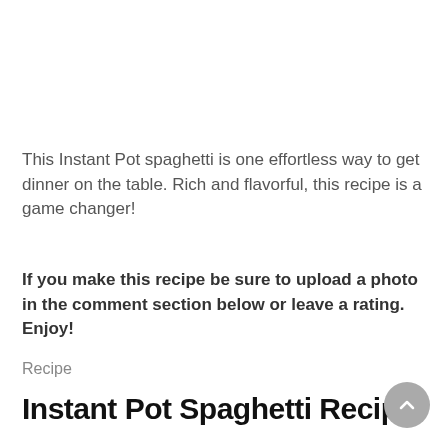This Instant Pot spaghetti is one effortless way to get dinner on the table. Rich and flavorful, this recipe is a game changer!
If you make this recipe be sure to upload a photo in the comment section below or leave a rating. Enjoy!
Recipe
Instant Pot Spaghetti Recipe